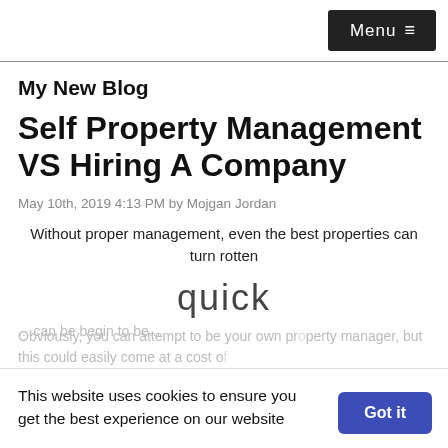Menu ≡
My New Blog
Self Property Management VS Hiring A Company
May 10th, 2019 4:13 PM by Mojgan Jordan
Without proper management, even the best properties can turn rotten
quick
This website uses cookies to ensure you get the best experience on our website
Obviously, you can attempt to be your own property manager, but this could easily come at a cost of...